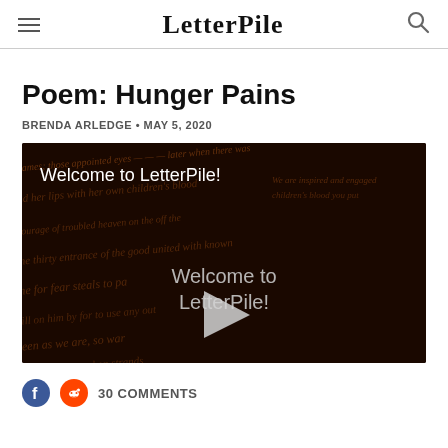LetterPile
Poem: Hunger Pains
BRENDA ARLEDGE • MAY 5, 2020
[Figure (screenshot): Video thumbnail with dark background showing cursive handwriting overlay. Top-left text reads 'Welcome to LetterPile!'. Center shows semi-transparent text 'Welcome to LetterPile!' with a play button triangle.]
30 COMMENTS